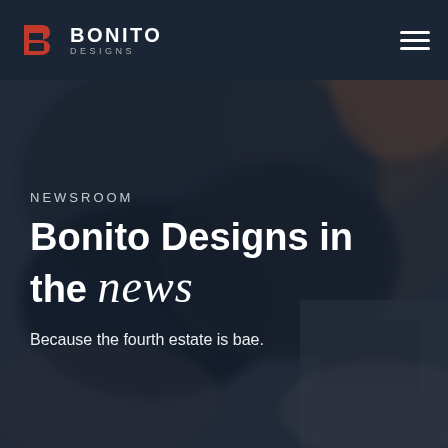[Figure (screenshot): Blurred dark photo of a person wearing dark gloves, working on a desk with a laptop, serving as a hero background image]
BONITO DESIGNS | Navigation bar with hamburger menu
NEWSROOM
Bonito Designs in the news
Because the fourth estate is bae.